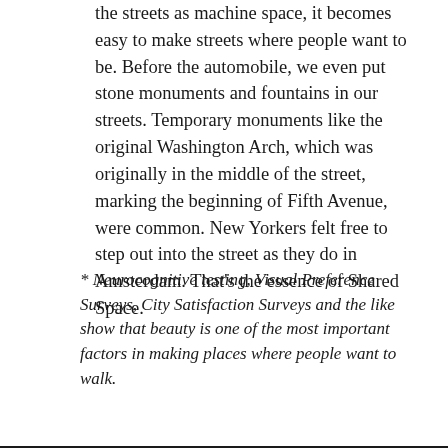the streets as machine space, it becomes easy to make streets where people want to be. Before the automobile, we even put stone monuments and fountains in our streets. Temporary monuments like the original Washington Arch, which was originally in the middle of the street, marking the beginning of Fifth Avenue, were common. New Yorkers felt free to step out into the street as they do in Amsterdam. That's the essence of Shared Space.
* Neurocognitive testing, Visual Preference Surveys, City Satisfaction Surveys and the like show that beauty is one of the most important factors in making places where people want to walk.